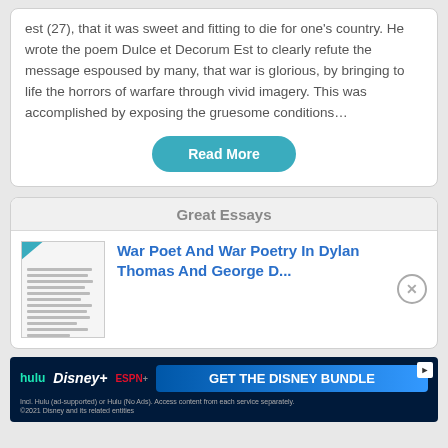est (27), that it was sweet and fitting to die for one's country. He wrote the poem Dulce et Decorum Est to clearly refute the message espoused by many, that war is glorious, by bringing to life the horrors of warfare through vivid imagery. This was accomplished by exposing the gruesome conditions…
Read More
Great Essays
[Figure (illustration): Thumbnail preview of an essay document with a 'Preview' ribbon]
War Poet And War Poetry In Dylan Thomas And George D...
[Figure (screenshot): Advertisement banner for Disney Bundle featuring Hulu, Disney+, and ESPN+ with text 'GET THE DISNEY BUNDLE'. Fine print: Incl. Hulu (ad-supported) or Hulu (No Ads). Access content from each service separately. ©2021 Disney and its related entities]